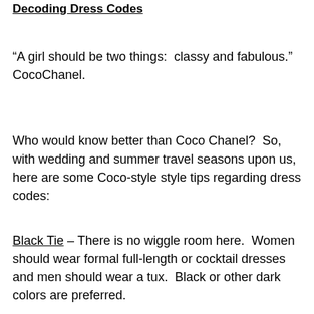Decoding Dress Codes
“A girl should be two things:  classy and fabulous.” CocoChanel.
Who would know better than Coco Chanel?  So, with wedding and summer travel seasons upon us, here are some Coco-style style tips regarding dress codes:
Black Tie – There is no wiggle room here.  Women should wear formal full-length or cocktail dresses and men should wear a tux.  Black or other dark colors are preferred.